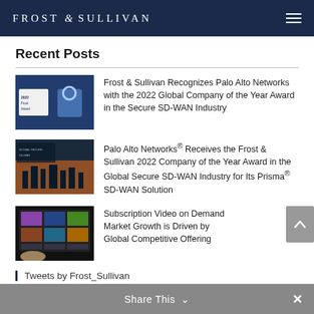FROST & SULLIVAN
Recent Posts
Frost & Sullivan Recognizes Palo Alto Networks with the 2022 Global Company of the Year Award in the Secure SD-WAN Industry
Palo Alto Networks® Receives the Frost & Sullivan 2022 Company of the Year Award in the Global Secure SD-WAN Industry for Its Prisma® SD-WAN Solution
Subscription Video on Demand Market Growth is Driven by Global Competitive Offering
Tweets by Frost_Sullivan
Share This